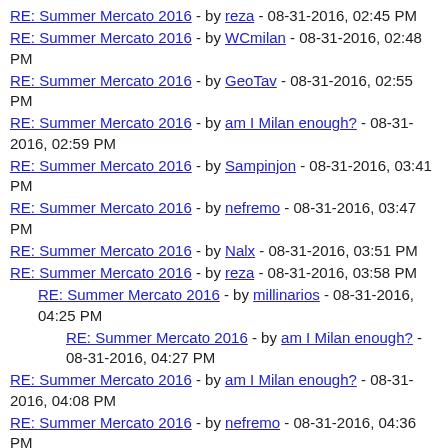RE: Summer Mercato 2016 - by reza - 08-31-2016, 02:45 PM
RE: Summer Mercato 2016 - by WCmilan - 08-31-2016, 02:48 PM
RE: Summer Mercato 2016 - by GeoTav - 08-31-2016, 02:55 PM
RE: Summer Mercato 2016 - by am I Milan enough? - 08-31-2016, 02:59 PM
RE: Summer Mercato 2016 - by Sampinjon - 08-31-2016, 03:41 PM
RE: Summer Mercato 2016 - by nefremo - 08-31-2016, 03:47 PM
RE: Summer Mercato 2016 - by Nalx - 08-31-2016, 03:51 PM
RE: Summer Mercato 2016 - by reza - 08-31-2016, 03:58 PM
RE: Summer Mercato 2016 - by millinarios - 08-31-2016, 04:25 PM
RE: Summer Mercato 2016 - by am I Milan enough? - 08-31-2016, 04:27 PM
RE: Summer Mercato 2016 - by am I Milan enough? - 08-31-2016, 04:08 PM
RE: Summer Mercato 2016 - by nefremo - 08-31-2016, 04:36 PM
RE: Summer Mercato 2016 - by millinarios - 08-31-2016, 04:39 PM
RE: Summer Mercato 2016 - by nefremo - 08-31-2016, 04:46 PM